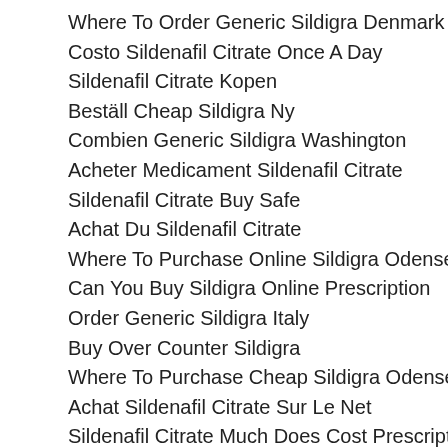Where To Order Generic Sildigra Denmark
Costo Sildenafil Citrate Once A Day
Sildenafil Citrate Kopen
Beställ Cheap Sildigra Ny
Combien Generic Sildigra Washington
Acheter Medicament Sildenafil Citrate
Sildenafil Citrate Buy Safe
Achat Du Sildenafil Citrate
Where To Purchase Online Sildigra Odense
Can You Buy Sildigra Online Prescription
Order Generic Sildigra Italy
Buy Over Counter Sildigra
Where To Purchase Cheap Sildigra Odense
Achat Sildenafil Citrate Sur Le Net
Sildenafil Citrate Much Does Cost Prescription
Order Sildigra On The Internet
Beställ Generic Sildigra Suomi
Order Generic Sildigra Denmark